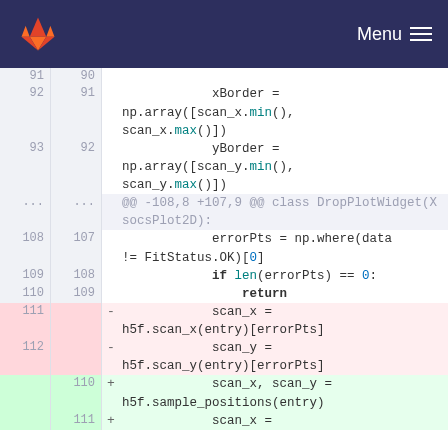GitLab Menu
Code diff view showing Python source changes. Lines 91-112 (old) and 90-111 (new). Changes replace scan_x/scan_y assignment with h5f.sample_positions(entry) call.